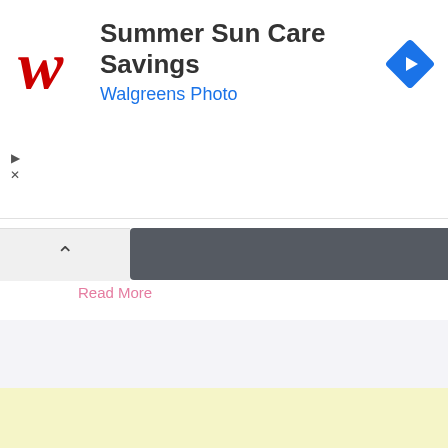[Figure (logo): Walgreens red cursive W logo]
Summer Sun Care Savings
Walgreens Photo
[Figure (other): Blue diamond navigation/redirect icon with white arrow]
Read More